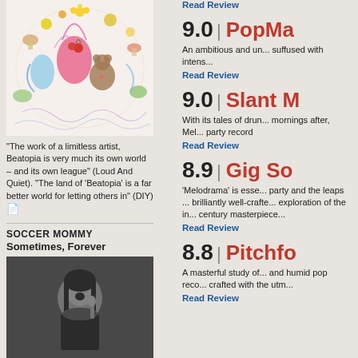[Figure (illustration): Colorful childlike drawing artwork album cover with abstract figures, creatures, stars, and surreal elements on white background]
"The work of a limitless artist, Beatopia is very much its own world – and its own league" (Loud And Quiet). "The land of 'Beatopia' is a far better world for letting others in" (DIY) ➡
SOCCER MOMMY
Sometimes, Forever
[Figure (photo): Black and white photo of a young woman with long hair, holding a microphone, wearing a dark turtleneck]
"It cements Soccer Mommy as one of the most exciting voices in indie pop"
Read Review
9.0 | PopMa...
An ambitious and un... suffused with intens...
Read Review
9.0 | Slant M...
With its tales of drum... mornings after, Mel... party record
Read Review
8.9 | Gig So...
'Melodrama' is esse... party and the leaps ... brilliantly well-crafte... exploration of the in... century masterpiece...
Read Review
8.8 | Pitchfo...
A masterful study of... and humid pop reco... crafted with the utm...
Read Review